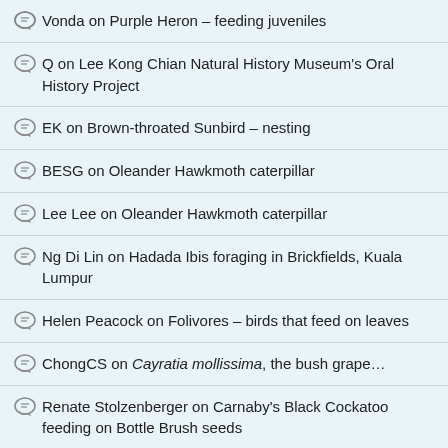Vonda on Purple Heron – feeding juveniles
Q on Lee Kong Chian Natural History Museum's Oral History Project
EK on Brown-throated Sunbird – nesting
BESG on Oleander Hawkmoth caterpillar
Lee Lee on Oleander Hawkmoth caterpillar
Ng Di Lin on Hadada Ibis foraging in Brickfields, Kuala Lumpur
Helen Peacock on Folivores – birds that feed on leaves
ChongCS on Cayratia mollissima, the bush grape…
Renate Stolzenberger on Carnaby's Black Cockatoo feeding on Bottle Brush seeds
BESG on Encounter with the Plain-pouched Hornbills of Perak
Bob Lim on Encounter with the Plain-pouched Hornbills of